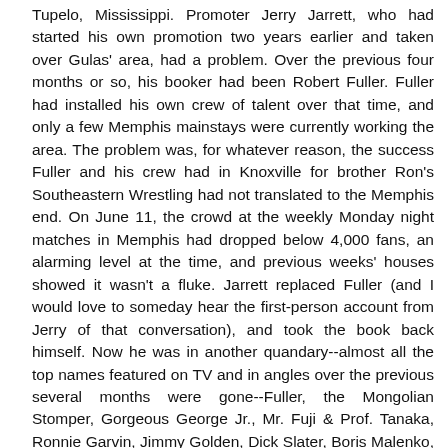Tupelo, Mississippi. Promoter Jerry Jarrett, who had started his own promotion two years earlier and taken over Gulas' area, had a problem. Over the previous four months or so, his booker had been Robert Fuller. Fuller had installed his own crew of talent over that time, and only a few Memphis mainstays were currently working the area. The problem was, for whatever reason, the success Fuller and his crew had in Knoxville for brother Ron's Southeastern Wrestling had not translated to the Memphis end. On June 11, the crowd at the weekly Monday night matches in Memphis had dropped below 4,000 fans, an alarming level at the time, and previous weeks' houses showed it wasn't a fluke. Jarrett replaced Fuller (and I would love to someday hear the first-person account from Jerry of that conversation), and took the book back himself. Now he was in another quandary--almost all the top names featured on TV and in angles over the previous several months were gone--Fuller, the Mongolian Stomper, Gorgeous George Jr., Mr. Fuji & Prof. Tanaka, Ronnie Garvin, Jimmy Golden, Dick Slater, Boris Malenko, Tony Charles, all were gone from the territory instantly after the June 11 Memphis card. Jarrett, in my opinion a booking genius, realized he had to take the